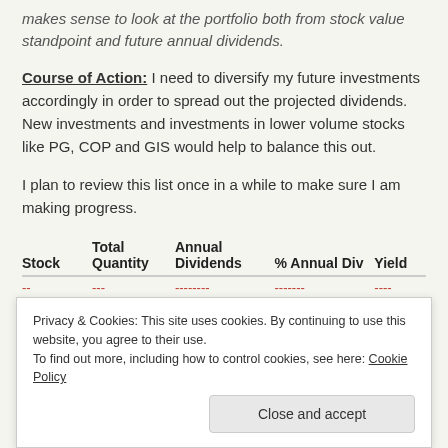makes sense to look at the portfolio both from stock value standpoint and future annual dividends.
Course of Action: I need to diversify my future investments accordingly in order to spread out the projected dividends. New investments and investments in lower volume stocks like PG, COP and GIS would help to balance this out.
I plan to review this list once in a while to make sure I am making progress.
| Stock | Total Quantity | Annual Dividends | % Annual Div | Yield |
| --- | --- | --- | --- | --- |
| -- | --- | -------- | ------- | ---- |
Privacy & Cookies: This site uses cookies. By continuing to use this website, you agree to their use. To find out more, including how to control cookies, see here: Cookie Policy